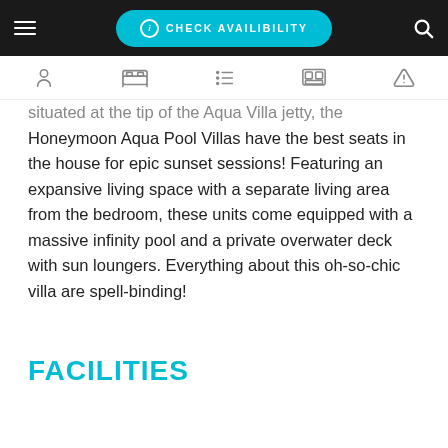CHECK AVAILIBILITY
Situated at the tip of the Aqua Villa jetty, the Honeymoon Aqua Pool Villas have the best seats in the house for epic sunset sessions! Featuring an expansive living space with a separate living area from the bedroom, these units come equipped with a massive infinity pool and a private overwater deck with sun loungers. Everything about this oh-so-chic villa are spell-binding!
FACILITIES